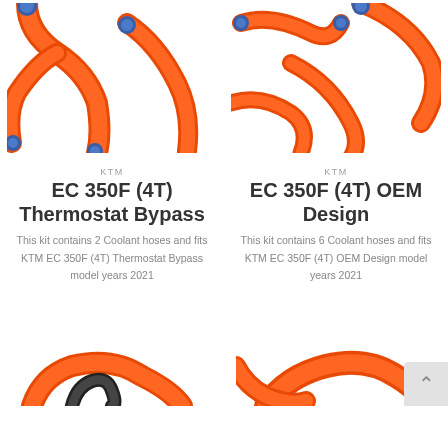[Figure (photo): Orange silicone coolant hoses (2-piece thermostat bypass kit) on white background, top-left product image]
[Figure (photo): Orange silicone coolant hoses (6-piece OEM design kit) on white background, top-right product image]
KTM
EC 350F (4T) Thermostat Bypass
This kit contains 2 Coolant hoses and fits KTM EC 350F (4T) Thermostat Bypass model years 2021
KTM
EC 350F (4T) OEM Design
This kit contains 6 Coolant hoses and fits KTM EC 350F (4T) OEM Design model years 2021
[Figure (photo): Orange silicone coolant hose (single piece) on white background, bottom-left]
[Figure (photo): Orange silicone coolant hoses on white background, bottom-right, with scroll-to-top button]